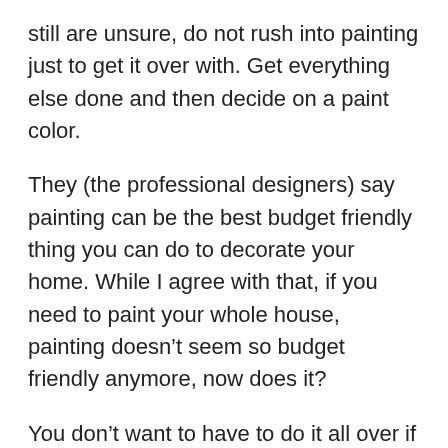still are unsure, do not rush into painting just to get it over with. Get everything else done and then decide on a paint color.
They (the professional designers) say painting can be the best budget friendly thing you can do to decorate your home. While I agree with that, if you need to paint your whole house, painting doesn't seem so budget friendly anymore, now does it?
You don't want to have to do it all over if you pick a color you end up hating. Take your time with this step. See the bit of brown wall in this picture? These walls will get painted soon but I didn't want to rush it. Maybe I wanted to do